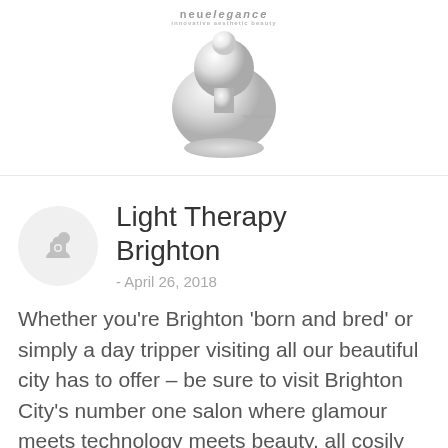[Figure (photo): Top portion of a product/salon page showing a NEU Elegance logo and a silver beauty device (light therapy mask or similar metallic device) on white background]
Light Therapy Brighton
- April 26, 2018
Whether you're Brighton 'born and bred' or simply a day tripper visiting all our beautiful city has to offer – be sure to visit Brighton City's number one salon where glamour meets technology meets beauty, all cosily nestled in the hub